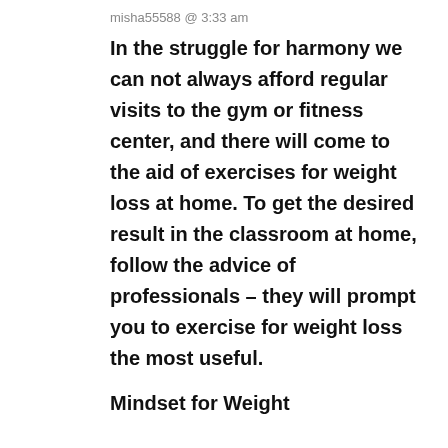misha55588 @ 3:33 am
In the struggle for harmony we can not always afford regular visits to the gym or fitness center, and there will come to the aid of exercises for weight loss at home. To get the desired result in the classroom at home, follow the advice of professionals – they will prompt you to exercise for weight loss the most useful.
Mindset for Weight